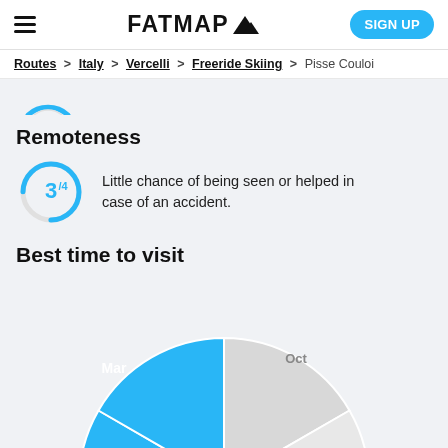FATMAP
Routes > Italy > Vercelli > Freeride Skiing > Pisse Couloir
Remoteness
[Figure (donut-chart): Donut chart showing remoteness score of 3 out of 4, displayed as a circular gauge with blue arc filling 3/4 of the circle and a number 3 with superscript /4 in the center.]
Little chance of being seen or helped in case of an accident.
Best time to visit
[Figure (pie-chart): Pie chart showing best months to visit. Dec, Jan, Feb, Mar are highlighted in blue (best months). Oct and Nov are shown in light grey.]